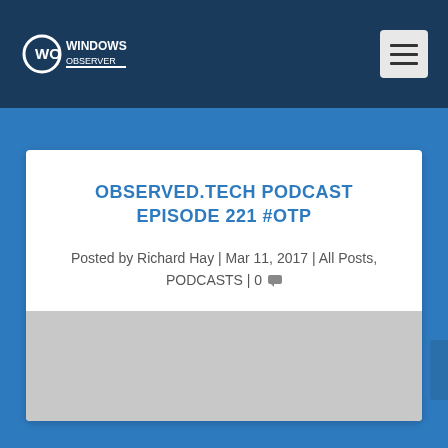[Figure (logo): Windows Observer logo - white WO icon with 'WINDOWS OBSERVER' text on dark navy background header]
OBSERVED.TECH PODCAST EPISODE 221 #OTP
Posted by Richard Hay | Mar 11, 2017 | All Posts, PODCASTS | 0 💬
[Figure (photo): Gray placeholder image/media player area at the bottom of the card]